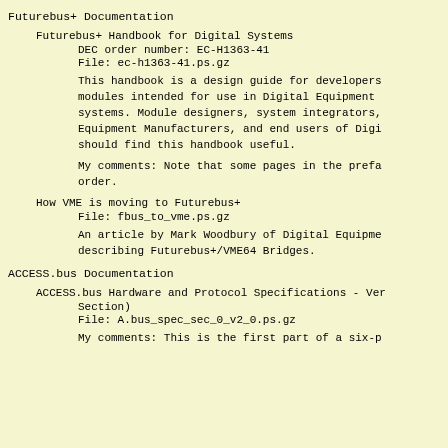Futurebus+ Documentation
Futurebus+ Handbook for Digital Systems
        DEC order number: EC-H1363-41
        File: ec-h1363-41.ps.gz

        This handbook is a design guide for developers of modules intended for use in Digital Equipment systems. Module designers, system integrators, Equipment Manufacturers, and end users of Digital Equipment systems should find this handbook useful.

        My comments: Note that some pages in the preface are out of order.
How VME is moving to Futurebus+
        File: fbus_to_vme.ps.gz

        An article by Mark Woodbury of Digital Equipment describing Futurebus+/VME64 Bridges.
ACCESS.bus Documentation
ACCESS.bus Hardware and Protocol Specifications - Ver ... Section)
        File: A.bus_spec_sec_0_v2_0.ps.gz

        My comments: This is the first part of a six-p...